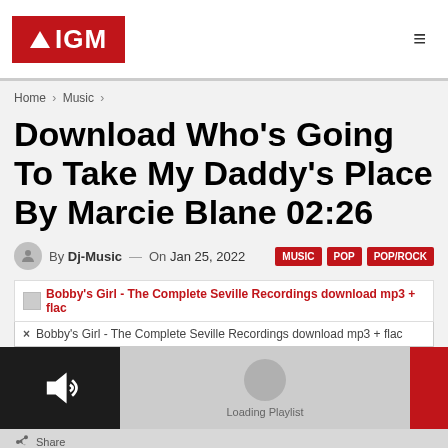AIGM
Home > Music >
Download Who's Going To Take My Daddy's Place By Marcie Blane 02:26
By Dj-Music — On Jan 25, 2022   MUSIC  POP  POP/ROCK
Bobby's Girl - The Complete Seville Recordings download mp3 + flac
× Bobby's Girl - The Complete Seville Recordings download mp3 + flac
[Figure (screenshot): Music player loading interface with speaker icon, vinyl disc, and Loading Playlist text]